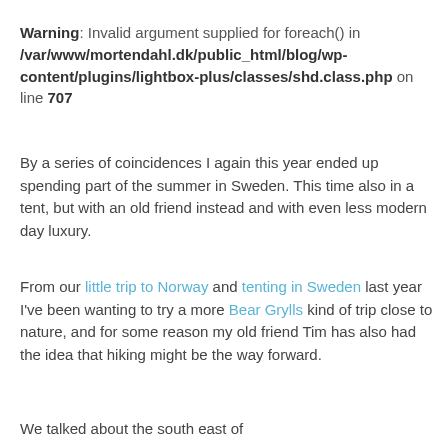Warning: Invalid argument supplied for foreach() in /var/www/mortendahl.dk/public_html/blog/wp-content/plugins/lightbox-plus/classes/shd.class.php on line 707
By a series of coincidences I again this year ended up spending part of the summer in Sweden. This time also in a tent, but with an old friend instead and with even less modern day luxury.
From our little trip to Norway and tenting in Sweden last year I've been wanting to try a more Bear Grylls kind of trip close to nature, and for some reason my old friend Tim has also had the idea that hiking might be the way forward.
We talked about the south east of...